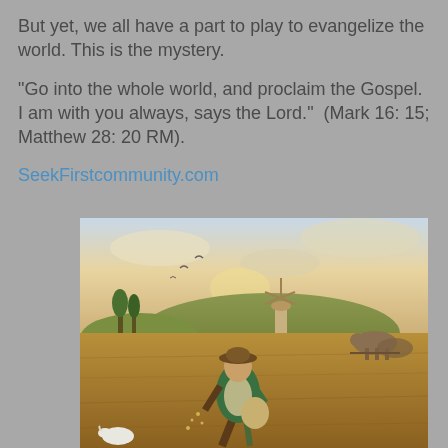But yet, we all have a part to play to evangelize the world. This is the mystery.
"Go into the whole world, and proclaim the Gospel.  I am with you always, says the Lord."  (Mark 16: 15; Matthew 28: 20 RM).
SeekFirstcommunity.com
[Figure (illustration): Classical painting of a sower scattering seeds in a field, wearing a green tunic and wide-brimmed hat, with cattle plowing in the background and a windmill on a hill.]